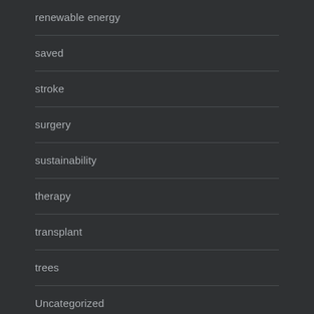renewable energy
saved
stroke
surgery
sustainability
therapy
transplant
trees
Uncategorized
upcycle
vegan